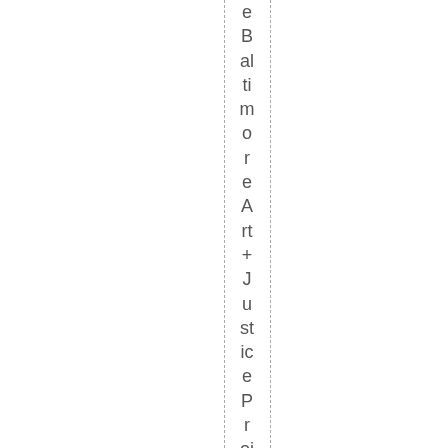e Baltimore Art + Justice Project is work